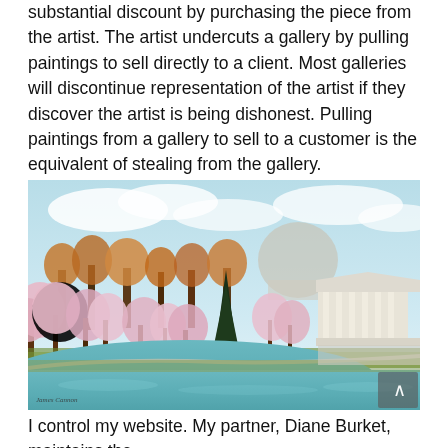substantial discount by purchasing the piece from the artist. The artist undercuts a gallery by pulling paintings to sell directly to a client. Most galleries will discontinue representation of the artist if they discover the artist is being dishonest. Pulling paintings from a gallery to sell to a customer is the equivalent of stealing from the gallery.
[Figure (photo): A painting of the Jefferson Memorial in Washington D.C. during cherry blossom season, with pink cherry blossom trees lining the Tidal Basin waterway in the foreground and the domed memorial building visible on the right.]
I control my website. My partner, Diane Burket, maintains the...